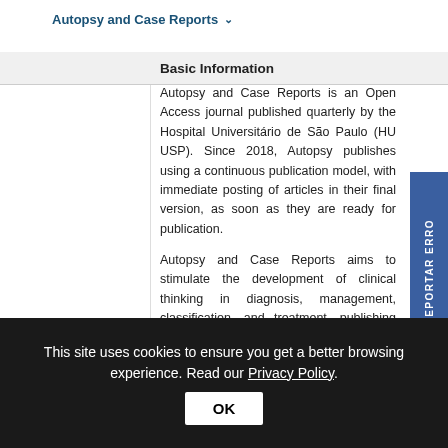Autopsy and Case Reports
Basic information
Autopsy and Case Reports is an Open Access journal published quarterly by the Hospital Universitário de São Paulo (HU USP). Since 2018, Autopsy publishes using a continuous publication model, with immediate posting of articles in their final version, as soon as they are ready for publication.
Autopsy and Case Reports aims to stimulate the development of clinical thinking in diagnosis, management, classification, and treatment, publishing manuscripts on academic autopsies with clinicopathological-radiologic correlation
This site uses cookies to ensure you get a better browsing experience. Read our Privacy Policy.